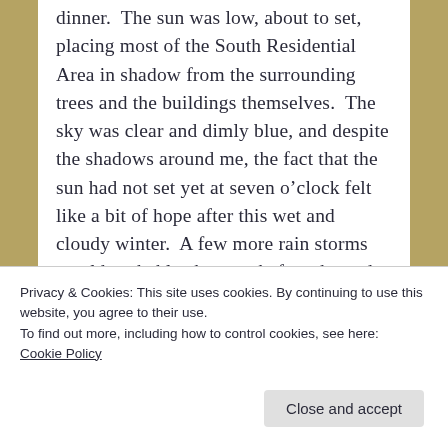dinner.  The sun was low, about to set, placing most of the South Residential Area in shadow from the surrounding trees and the buildings themselves.  The sky was clear and dimly blue, and despite the shadows around me, the fact that the sun had not set yet at seven o’clock felt like a bit of hope after this wet and cloudy winter.  A few more rain storms would probably show up before the end of the school year, but summer would return eventually.
Privacy & Cookies: This site uses cookies. By continuing to use this website, you agree to their use.
To find out more, including how to control cookies, see here: Cookie Policy